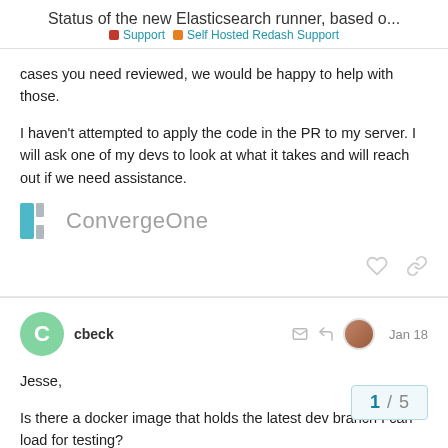Status of the new Elasticsearch runner, based o...
Support  Self Hosted Redash Support
cases you need reviewed, we would be happy to help with those.
I haven't attempted to apply the code in the PR to my server. I will ask one of my devs to look at what it takes and will reach out if we need assistance.
[Figure (logo): ConvergeOne logo with stylized C bracket icon in teal/gray and text 'ConvergeOne' in gray]
cbeck  Jan 18
Jesse,
Is there a docker image that holds the latest dev branch I can load for testing?
Just curious.
1 / 5